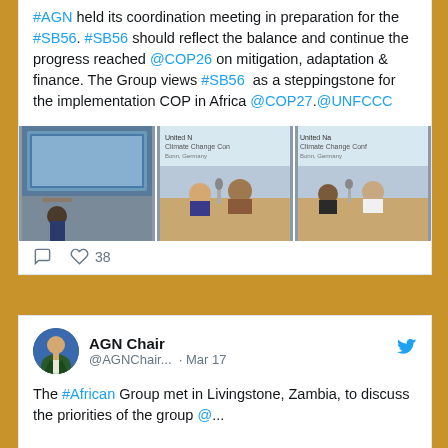#AGN held its coordination meeting in preparation for the #SB56. #SB56 should reflect the balance and continue the progress reached @COP26 on mitigation, adaptation & finance. The Group views #SB56 as a steppingstone for the implementation COP in Africa @COP27.@UNFCCC
[Figure (photo): Three conference photos side by side: left shows a speaker at a podium with a large screen, center and right show panel members seated at a table with 'United Nations Climate Change Conference, Bonn, Germany' banners]
38 (likes)
AGN Chair @AGNChair... · Mar 17
The #African Group met in Livingstone, Zambia, to discuss the priorities of the group @...